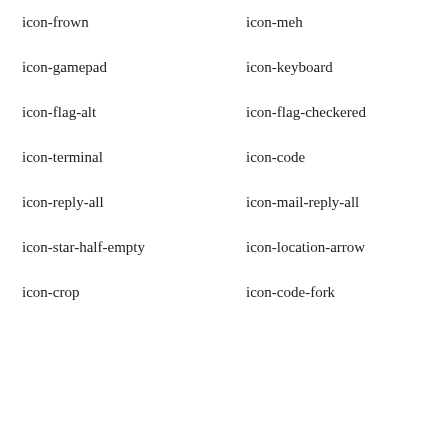icon-frown
icon-meh
icon-gamepad
icon-keyboard
icon-flag-alt
icon-flag-checkered
icon-terminal
icon-code
icon-reply-all
icon-mail-reply-all
icon-star-half-empty
icon-location-arrow
icon-crop
icon-code-fork